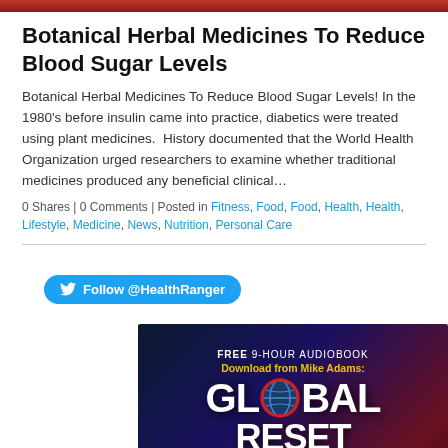[Figure (photo): Top image strip/thumbnail of article image]
Botanical Herbal Medicines To Reduce Blood Sugar Levels
Botanical Herbal Medicines To Reduce Blood Sugar Levels! In the 1980's before insulin came into practice, diabetics were treated using plant medicines.  History documented that the World Health Organization urged researchers to examine whether traditional medicines produced any beneficial clinical…
0 Shares | 0 Comments | Posted in Fitness, Food, Food, Health, Health, Lifestyle, Medicine, News, Nutrition, Personal Care
[Figure (other): Twitter Follow @HealthRanger button]
[Figure (infographic): Advertisement banner: FREE 9-HOUR AUDIOBOOK Download from Mike Adams: GLOBAL RESET - DOWNLOAD HERE]